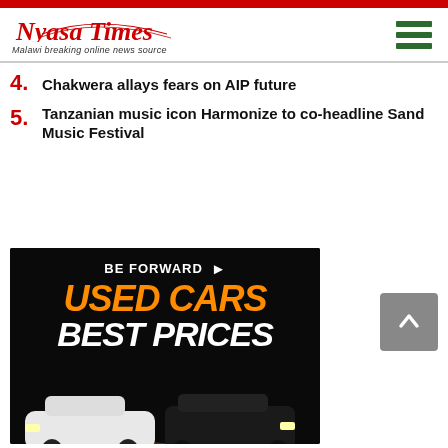Nyasa Times — Malawi breaking online news source
4. Chakwera allays fears on AIP future
5. Tanzanian music icon Harmonize to co-headline Sand Music Festival
[Figure (illustration): BE FORWARD Used Cars Best Prices advertisement banner showing two cars (white Mercedes and dark SUV) on a black background with orange and white text]